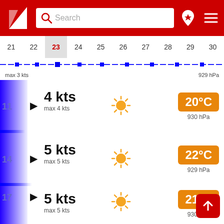[Figure (screenshot): App header with red background, logo (white triangular sail icon), search bar, location pin icon, and hamburger menu]
21 22 23 24 25 26 27 28 29 30
max 3 kts | 929 hPa
11 | ▶ 4 kts | max 4 kts | ☀ | 20°C | 930 hPa
14 | ▶ 5 kts | max 5 kts | ☀ | 22°C | 929 hPa
17 | ▶ 5 kts | max 5 kts | ☀ | 21°C | 930 hPa
20 | ▲ 2 kts | max 2 kts | ☀ | 15°C | 931 hPa
22 | ▶ 4 kts | 13°C